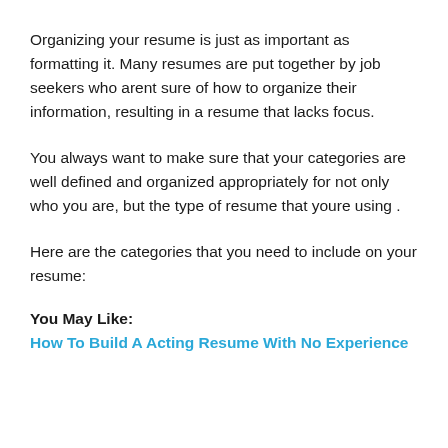Organizing your resume is just as important as formatting it. Many resumes are put together by job seekers who arent sure of how to organize their information, resulting in a resume that lacks focus.
You always want to make sure that your categories are well defined and organized appropriately for not only who you are, but the type of resume that youre using .
Here are the categories that you need to include on your resume:
You May Like:
How To Build A Acting Resume With No Experience